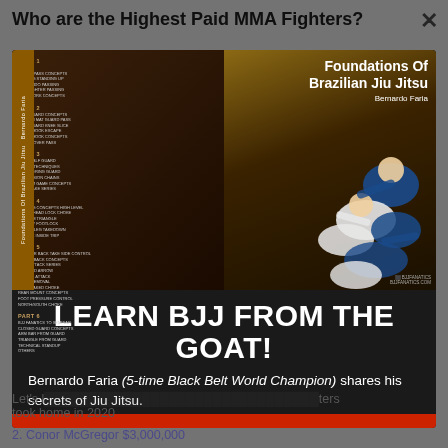Who are the Highest Paid MMA Fighters?
The highest paid MMA fighters aren't always the top earning in the ... lority of the ... e of the U... in 2018 ... throw... er UFC 2...
[Figure (photo): Book cover for 'Foundations Of Brazilian Jiu Jitsu' by Bernardo Faria, showing table of contents on left and BJJ fighters on right, published by BJJ Fanatics]
LEARN BJJ FROM THE GOAT!
Bernardo Faria (5-time Black Belt World Champion) shares his secrets of Jiu Jitsu.
Let's l... fighters took home in 2020
2. Conor McGregor $3,000,000